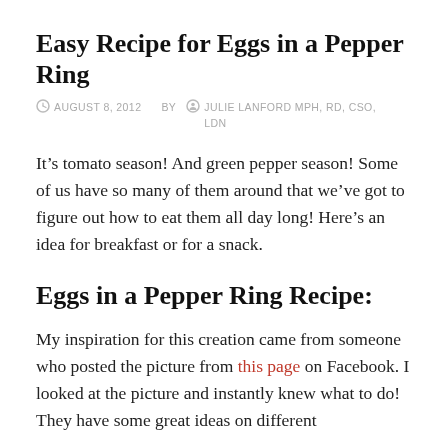Easy Recipe for Eggs in a Pepper Ring
AUGUST 8, 2012   BY   JULIE LANFORD MPH, RD, CSO, LDN
It’s tomato season! And green pepper season! Some of us have so many of them around that we’ve got to figure out how to eat them all day long! Here’s an idea for breakfast or for a snack.
Eggs in a Pepper Ring Recipe:
My inspiration for this creation came from someone who posted the picture from this page on Facebook. I looked at the picture and instantly knew what to do! They have some great ideas on different